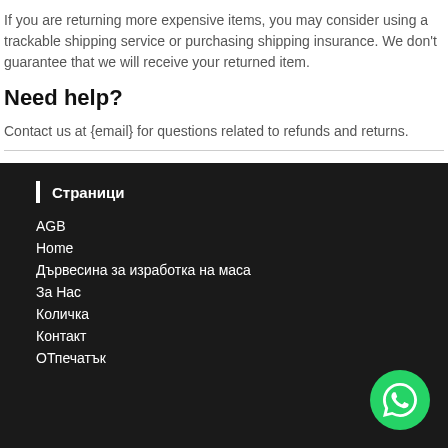If you are returning more expensive items, you may consider using a trackable shipping service or purchasing shipping insurance. We don't guarantee that we will receive your returned item.
Need help?
Contact us at {email} for questions related to refunds and returns.
Страници
AGB
Home
Дървесина за изработка на маса
За Нас
Количка
Контакт
ОТпечатък